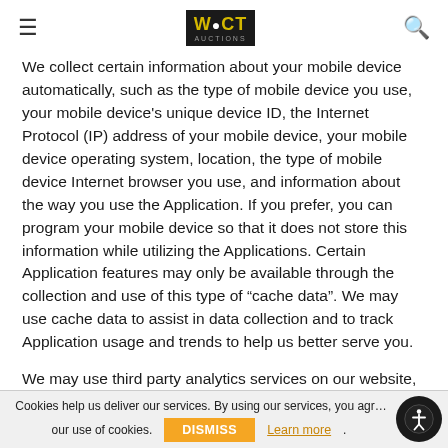WCT Auctions
We collect certain information about your mobile device automatically, such as the type of mobile device you use, your mobile device's unique device ID, the Internet Protocol (IP) address of your mobile device, your mobile device operating system, location, the type of mobile device Internet browser you use, and information about the way you use the Application. If you prefer, you can program your mobile device so that it does not store this information while utilizing the Applications. Certain Application features may only be available through the collection and use of this type of “cache data”. We may use cache data to assist in data collection and to track Application usage and trends to help us better serve you.
We may use third party analytics services on our website, such as Google Analytics. The information collected through these means (including IP address) is disclosed to these service providers, who use the information to analyze use of
Cookies help us deliver our services. By using our services, you agree to our use of cookies. DISMISS Learn more.